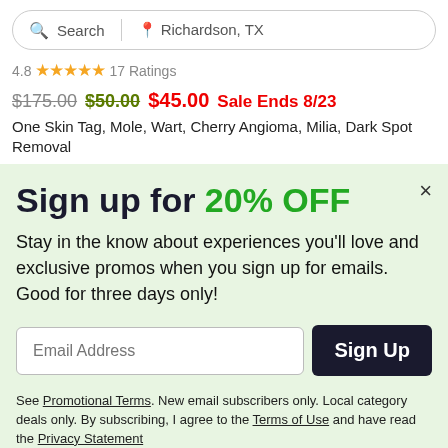[Figure (screenshot): Search bar with search icon and 'Richardson, TX' location]
4.8 ★★★★★ 17 Ratings
$175.00 $50.00 $45.00 Sale Ends 8/23
One Skin Tag, Mole, Wart, Cherry Angioma, Milia, Dark Spot Removal
Sign up for 20% OFF
Stay in the know about experiences you'll love and exclusive promos when you sign up for emails. Good for three days only!
Email Address
Sign Up
See Promotional Terms. New email subscribers only. Local category deals only. By subscribing, I agree to the Terms of Use and have read the Privacy Statement